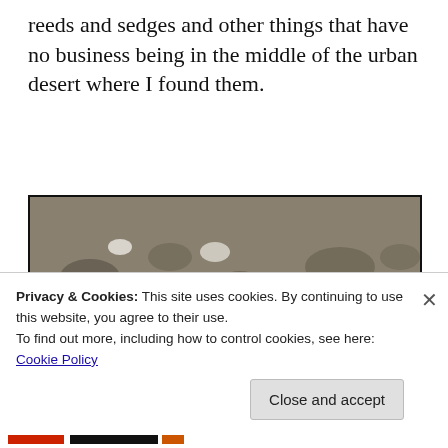reeds and sedges and other things that have no business being in the middle of the urban desert where I found them.
[Figure (photo): Photograph of a shallow river or creek with rocky banks, patches of green vegetation, and a white egret or heron bird standing near the water's edge. The background shows more rocks and dry brush.]
I saw pigeons, mourning doves, sparrows, some type of
Privacy & Cookies: This site uses cookies. By continuing to use this website, you agree to their use.
To find out more, including how to control cookies, see here: Cookie Policy